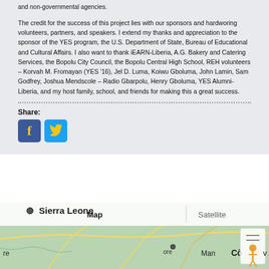and non-governmental agencies.
The credit for the success of this project lies with our sponsors and hardworing volunteers, partners, and speakers. I extend my thanks and appreciation to the sponsor of the YES program, the U.S. Department of State, Bureau of Educational and Cultural Affairs. I also want to thank iEARN-Liberia, A.G. Bakery and Catering Services, the Bopolu City Council, the Bopolu Central High School, REH volunteers – Korvah M. Fromayan (YES '16), Jel D. Luma, Koiwu Gboluma, John Lamin, Sam Godfrey, Joshua Mendscole – Radio Gbarpolu, Henry Gboluma, YES Alumni-Liberia, and my host family, school, and friends for making this a great success.
Share:
[Figure (other): Facebook and Twitter social share buttons]
[Figure (map): Google Maps embed showing Sierra Leone region with Map/Satellite toggle tabs]